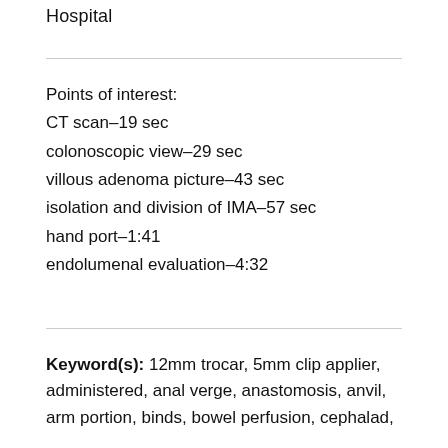Hospital
Points of interest:
CT scan–19 sec
colonoscopic view–29 sec
villous adenoma picture–43 sec
isolation and division of IMA–57 sec
hand port–1:41
endolumenal evaluation–4:32
Keyword(s): 12mm trocar, 5mm clip applier, administered, anal verge, anastomosis, anvil, arm portion, binds, bowel perfusion, cephalad,